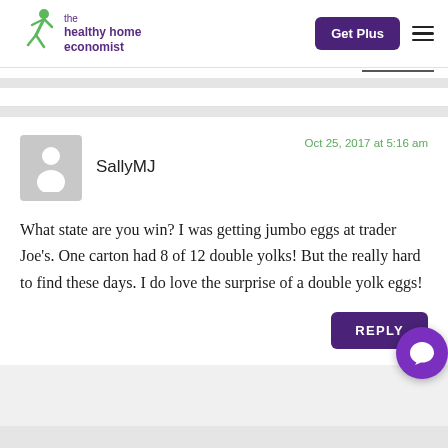the healthy home economist | Get Plus
SallyMJ — Oct 25, 2017 at 5:16 am — What state are you win? I was getting jumbo eggs at trader Joe's. One carton had 8 of 12 double yolks! But the really hard to find these days. I do love the surprise of a double yolk eggs!